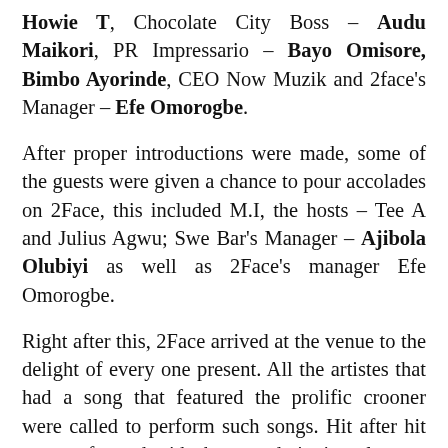Howie T, Chocolate City Boss – Audu Maikori, PR Impressario – Bayo Omisore, Bimbo Ayorinde, CEO Now Muzik and 2face's Manager – Efe Omorogbe.
After proper introductions were made, some of the guests were given a chance to pour accolades on 2Face, this included M.I, the hosts – Tee A and Julius Agwu; Swe Bar's Manager – Ajibola Olubiyi as well as 2Face's manager Efe Omorogbe.
Right after this, 2Face arrived at the venue to the delight of every one present. All the artistes that had a song that featured the prolific crooner were called to perform such songs. Hit after hit was performed with the crowd singing along to every word. 2Face himself performed a few of his personal hits. Faze arrived a bit late and was ushered straight to the front to be seated right